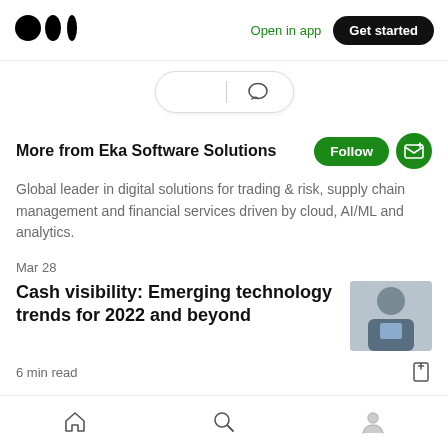Open in app | Get started
[Figure (screenshot): Clap and comment action icons in a rounded pill shape]
More from Eka Software Solutions
Global leader in digital solutions for trading & risk, supply chain management and financial services driven by cloud, AI/ML and analytics.
Mar 28
Cash visibility: Emerging technology trends for 2022 and beyond
[Figure (photo): Thumbnail of a bald man in a grey shirt looking at a tablet device]
6 min read
Home | Search | Profile navigation icons